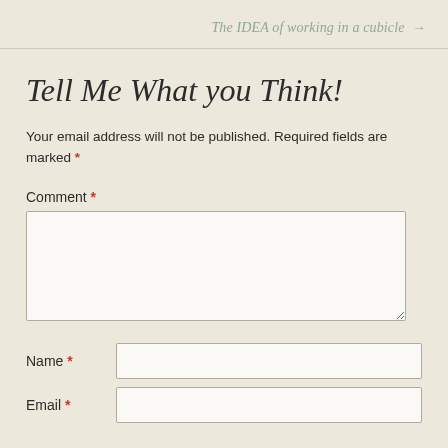The IDEA of working in a cubicle →
Tell Me What you Think!
Your email address will not be published. Required fields are marked *
Comment *
Name *
Email *